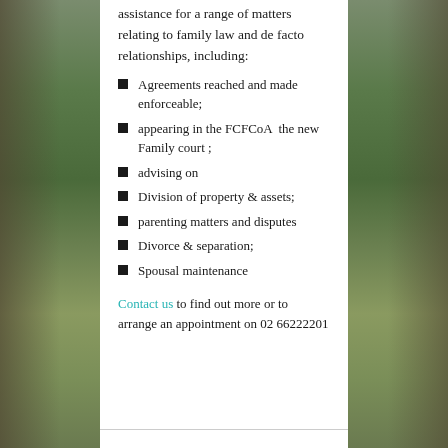assistance for a range of matters relating to family law and de facto relationships, including:
Agreements reached and made enforceable;
appearing in the FCFCoA  the new Family court ;
advising on
Division of property & assets;
parenting matters and disputes
Divorce & separation;
Spousal maintenance
Contact us to find out more or to arrange an appointment on 02 66222201